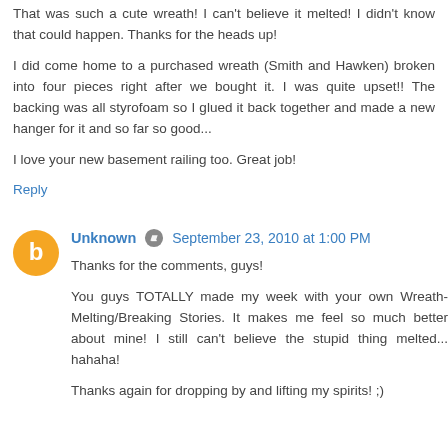That was such a cute wreath! I can't believe it melted! I didn't know that could happen. Thanks for the heads up!
I did come home to a purchased wreath (Smith and Hawken) broken into four pieces right after we bought it. I was quite upset!! The backing was all styrofoam so I glued it back together and made a new hanger for it and so far so good...
I love your new basement railing too. Great job!
Reply
Unknown  September 23, 2010 at 1:00 PM
Thanks for the comments, guys!
You guys TOTALLY made my week with your own Wreath-Melting/Breaking Stories. It makes me feel so much better about mine! I still can't believe the stupid thing melted... hahaha!
Thanks again for dropping by and lifting my spirits! ;)